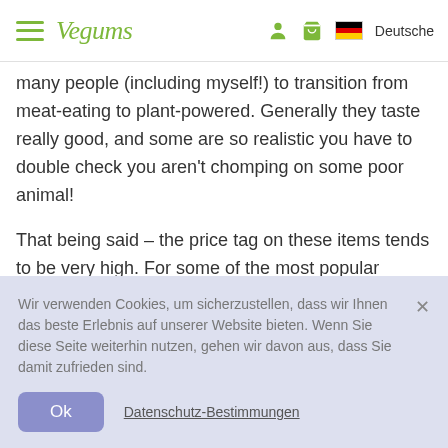Vegums – Deutsche
many people (including myself!) to transition from meat-eating to plant-powered. Generally they taste really good, and some are so realistic you have to double check you aren't chomping on some poor animal!
That being said – the price tag on these items tends to be very high. For some of the most popular burgers you're looking around £5 for a pack of 2. Just to put that into perspective, you could get 10 tins of chickpeas for the same price.
Wir verwenden Cookies, um sicherzustellen, dass wir Ihnen das beste Erlebnis auf unserer Website bieten. Wenn Sie diese Seite weiterhin nutzen, gehen wir davon aus, dass Sie damit zufrieden sind.
Ok
Datenschutz-Bestimmungen